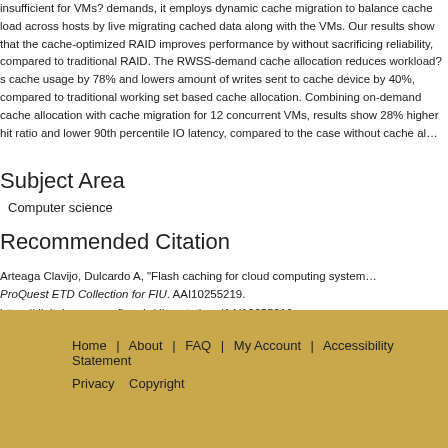insufficient for VMs? demands, it employs dynamic cache migration to balance cache load across hosts by live migrating cached data along with the VMs. Our results show that the cache-optimized RAID improves performance by without sacrificing reliability, compared to traditional RAID. The RWSS-demand cache allocation reduces workload?s cache usage by 78% and lowers amount of writes sent to cache device by 40%, compared to traditional working set based cache allocation. Combining on-demand cache allocation with cache migration for 12 concurrent VMs, results show 28% higher hit ratio and lower 90th percentile IO latency, compared to the case without cache allocation.
Subject Area
Computer science
Recommended Citation
Arteaga Clavijo, Dulcardo A, "Flash caching for cloud computing systems". ProQuest ETD Collection for FIU. AAI10255219. https://digitalcommons.fiu.edu/dissertations/AAI10255219
Home | About | FAQ | My Account | Accessibility Statement Privacy Copyright